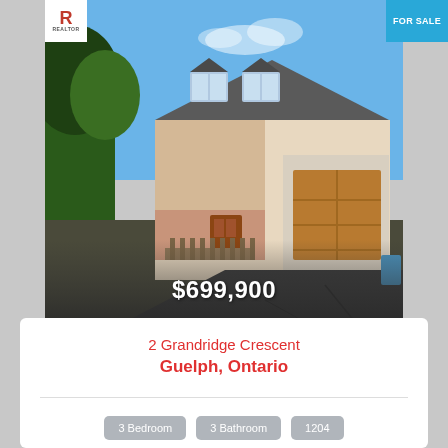[Figure (photo): Exterior photo of a two-storey house with dormer windows, attached garage, brick facade, deck, and driveway, on a sunny day]
FOR SALE
$699,900
2 Grandridge Crescent
Guelph, Ontario
3 Bedroom
3 Bathroom
1204